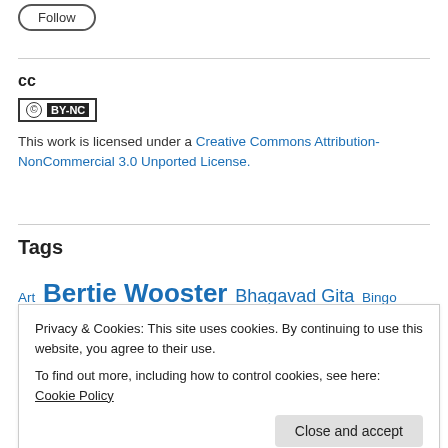[Figure (other): Follow button (rounded rectangle outline)]
cc
[Figure (logo): Creative Commons BY-NC badge]
This work is licensed under a Creative Commons Attribution-NonCommercial 3.0 Unported License.
Tags
Art Bertie Wooster Bhagavad Gita Bingo Little Birthday
Privacy & Cookies: This site uses cookies. By continuing to use this website, you agree to their use.
To find out more, including how to control cookies, see here: Cookie Policy
Close and accept
Human Values Humour India Industrial Revolution 4.0